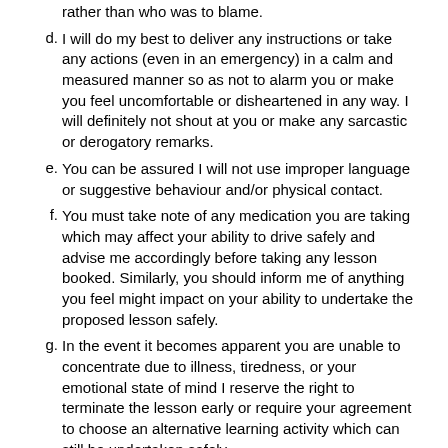rather than who was to blame.
d. I will do my best to deliver any instructions or take any actions (even in an emergency) in a calm and measured manner so as not to alarm you or make you feel uncomfortable or disheartened in any way. I will definitely not shout at you or make any sarcastic or derogatory remarks.
e. You can be assured I will not use improper language or suggestive behaviour and/or physical contact.
f. You must take note of any medication you are taking which may affect your ability to drive safely and advise me accordingly before taking any lesson booked. Similarly, you should inform me of anything you feel might impact on your ability to undertake the proposed lesson safely.
g. In the event it becomes apparent you are unable to concentrate due to illness, tiredness, or your emotional state of mind I reserve the right to terminate the lesson early or require your agreement to choose an alternative learning activity which can still be undertaken safely.
6. Driving under the influence
To ensure the safety of you and other road users I reserve the right to cancel any lesson if you are or if I suspect you are under the influence of drugs, legal highs and/or alcohol (prescribed or